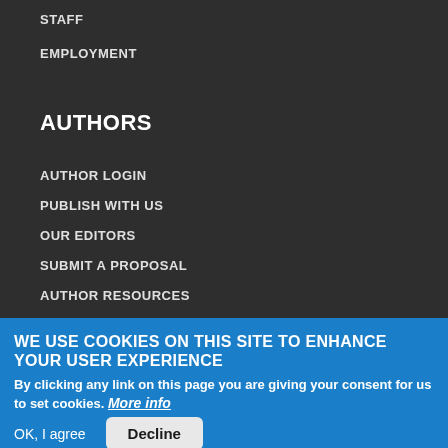STAFF
EMPLOYMENT
AUTHORS
AUTHOR LOGIN
PUBLISH WITH US
OUR EDITORS
SUBMIT A PROPOSAL
AUTHOR RESOURCES
AUTHOR FAQS
WE USE COOKIES ON THIS SITE TO ENHANCE YOUR USER EXPERIENCE
By clicking any link on this page you are giving your consent for us to set cookies. More info
OK, I agree
Decline